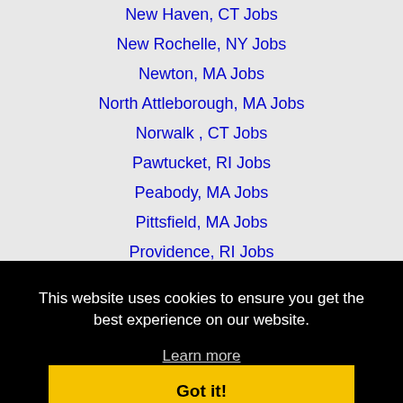New Haven, CT Jobs
New Rochelle, NY Jobs
Newton, MA Jobs
North Attleborough, MA Jobs
Norwalk , CT Jobs
Pawtucket, RI Jobs
Peabody, MA Jobs
Pittsfield, MA Jobs
Providence, RI Jobs
Quincy, MA Jobs
This website uses cookies to ensure you get the best experience on our website.
Learn more
Got it!